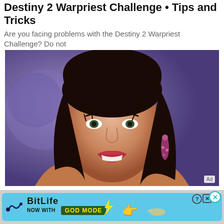Destiny 2 Warpriest Challenge • Tips and Tricks
Are you facing problems with the Destiny 2 Warpriest Challenge? Do not
[Figure (photo): Portrait photo of a smiling woman with long dark hair, wearing jeweled earrings, with a purple blurred background. 'Ad' badge in bottom right corner.]
6 Things You Didn't Know About Channing Tatum's Ex-Wife
BRAINBERRIES
[Figure (screenshot): BitLife advertisement banner: teal/blue background with 'BitLife' logo, 'NOW WITH GOD MODE' text, lightning bolt, pointing hand emoji, question mark and X close buttons.]